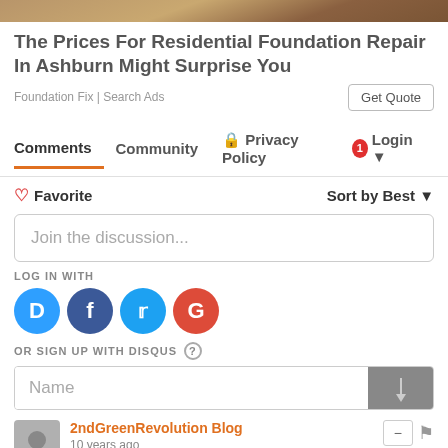[Figure (photo): Partial view of an outdoor ground/soil texture, cropped at top]
The Prices For Residential Foundation Repair In Ashburn Might Surprise You
Foundation Fix | Search Ads
Get Quote
Comments  Community  🔒 Privacy Policy  1  Login ▾
♡ Favorite
Sort by Best ▾
Join the discussion...
LOG IN WITH
[Figure (infographic): Social login icons: Disqus (blue D), Facebook (dark blue F), Twitter (light blue bird), Google (red G)]
OR SIGN UP WITH DISQUS ?
Name
2ndGreenRevolution Blog
10 years ago